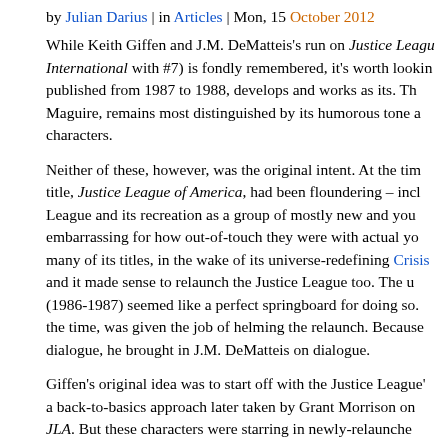by Julian Darius | in Articles | Mon, 15 October 2012
While Keith Giffen and J.M. DeMatteis's run on Justice League International with #7) is fondly remembered, it's worth looking published from 1987 to 1988, develops and works as its. The Maguire, remains most distinguished by its humorous tone a characters.
Neither of these, however, was the original intent. At the time title, Justice League of America, had been floundering – inclu League and its recreation as a group of mostly new and your embarrassing for how out-of-touch they were with actual you many of its titles, in the wake of its universe-redefining Crisis and it made sense to relaunch the Justice League too. The u (1986-1987) seemed like a perfect springboard for doing so. the time, was given the job of helming the relaunch. Because dialogue, he brought in J.M. DeMatteis on dialogue.
Giffen's original idea was to start off with the Justice League' a back-to-basics approach later taken by Grant Morrison on t JLA. But these characters were starring in newly-relaunched